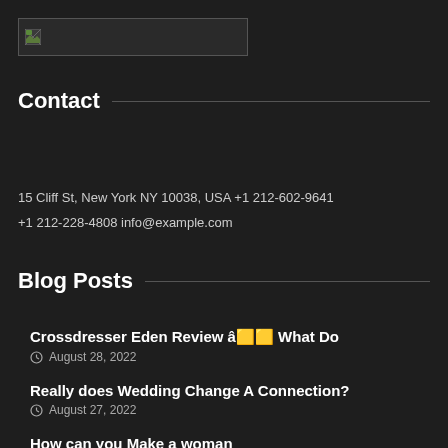[Figure (logo): Broken image placeholder in a bordered rectangle — site logo area]
Contact
15 Cliff St, New York NY 10038, USA +1 212-602-9641
+1 212-228-4808 info@example.com
Blog Posts
Crossdresser Eden Review â What Do
August 28, 2022
Really does Wedding Change A Connection?
August 27, 2022
How can you Make a woman